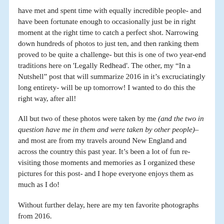have met and spent time with equally incredible people- and have been fortunate enough to occasionally just be in right moment at the right time to catch a perfect shot. Narrowing down hundreds of photos to just ten, and then ranking them proved to be quite a challenge- but this is one of two year-end traditions here on 'Legally Redhead'. The other, my "In a Nutshell" post that will summarize 2016 in it's excruciatingly long entirety- will be up tomorrow! I wanted to do this the right way, after all!
All but two of these photos were taken by me (and the two in question have me in them and were taken by other people)– and most are from my travels around New England and across the country this past year. It's been a lot of fun re-visiting those moments and memories as I organized these pictures for this post- and I hope everyone enjoys them as much as I do!
Without further delay, here are my ten favorite photographs from 2016.